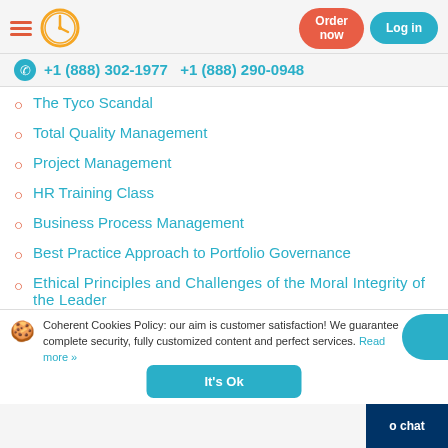Order now  Log in  +1 (888) 302-1977  +1 (888) 290-0948
The Tyco Scandal
Total Quality Management
Project Management
HR Training Class
Business Process Management
Best Practice Approach to Portfolio Governance
Ethical Principles and Challenges of the Moral Integrity of the Leader
Coherent Cookies Policy: our aim is customer satisfaction! We guarantee complete security, fully customized content and perfect services. Read more »